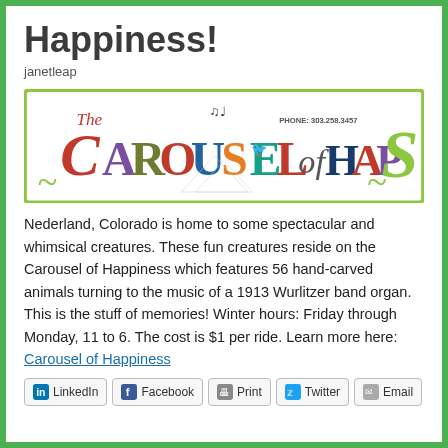Happiness!
janetleap
[Figure (logo): The Carousel of Happiness logo with colorful text, phone number 303.258.3457, decorative swirls on green border]
Nederland, Colorado is home to some spectacular and whimsical creatures. These fun creatures reside on the Carousel of Happiness which features 56 hand-carved animals turning to the music of a 1913 Wurlitzer band organ. This is the stuff of memories! Winter hours: Friday through Monday, 11 to 6. The cost is $1 per ride. Learn more here: Carousel of Happiness
LinkedIn  Facebook  Print  Twitter  Email